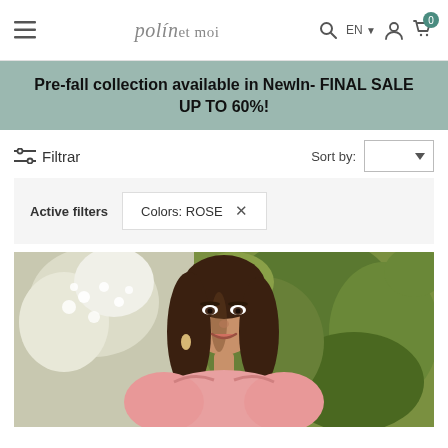polín et moi — EN — navigation bar with hamburger menu, search, language selector, user icon, cart icon (0)
Pre-fall collection available in NewIn- FINAL SALE UP TO 60%!
Filtrar
Sort by:
Active filters    Colors: ROSE ×
[Figure (photo): Woman with long dark hair wearing a pink top, photographed outdoors in front of green ivy and white flowering bushes]